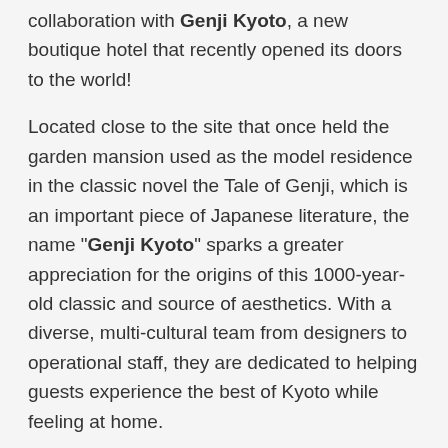collaboration with Genji Kyoto, a new boutique hotel that recently opened its doors to the world!
Located close to the site that once held the garden mansion used as the model residence in the classic novel the Tale of Genji, which is an important piece of Japanese literature, the name "Genji Kyoto" sparks a greater appreciation for the origins of this 1000-year-old classic and source of aesthetics. With a diverse, multi-cultural team from designers to operational staff, they are dedicated to helping guests experience the best of Kyoto while feeling at home.
Arigato Travel, with expertise in inbound tourism and content marketing and having some 30,000 guests on their culinary experiences and authentic Kyoto tours, is Genji Kyoto's perfect ally and partner for reaching out to the world!